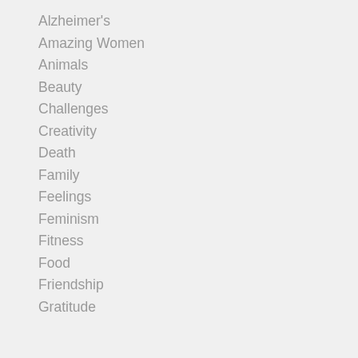Alzheimer's
Amazing Women
Animals
Beauty
Challenges
Creativity
Death
Family
Feelings
Feminism
Fitness
Food
Friendship
Gratitude